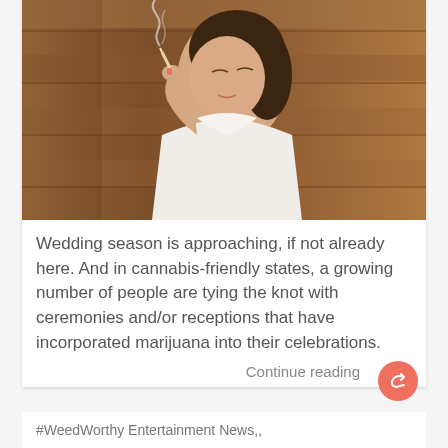[Figure (photo): A woman in a white lace wedding dress smoking against a wood-paneled wall background]
Wedding season is approaching, if not already here. And in cannabis-friendly states, a growing number of people are tying the knot with ceremonies and/or receptions that have incorporated marijuana into their celebrations.
Continue reading
#WeedWorthy Entertainment News,,